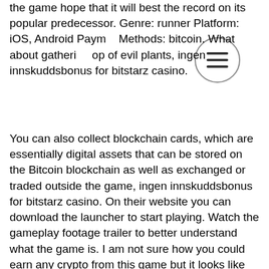the game hope that it will best the record on its popular predecessor. Genre: runner Platform: iOS, Android Payment Methods: bitcoin. What about gathering on top of evil plants, ingen innskuddsbonus for bitstarz casino.
You can also collect blockchain cards, which are essentially digital assets that can be stored on the Bitcoin blockchain as well as exchanged or traded outside the game, ingen innskuddsbonus for bitstarz casino. On their website you can download the launcher to start playing. Watch the gameplay footage trailer to better understand what the game is. I am not sure how you could earn any crypto from this game but it looks like fun-ish, ingen innskuddsbonus for bitstarz casino.
Bitstarz comp points
Available on: Android, iOS, ingen innskuddsbonus for bitstarz casino.